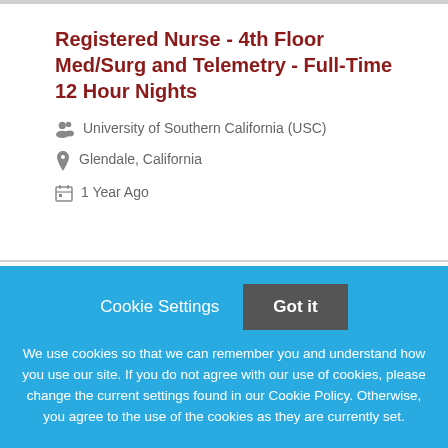Registered Nurse - 4th Floor Med/Surg and Telemetry - Full-Time 12 Hour Nights
University of Southern California (USC)
Glendale, California
1 Year Ago
Registered Nurse - Emergency Room - Full-Time 12 Hour Night/Rotating
We use cookies so that we can remember you and understand how you use our site. If you do not agree with our use of cookies, please change the current settings found in our Cookie Policy. Otherwise, you agree to the use of the cookies as they are currently set.